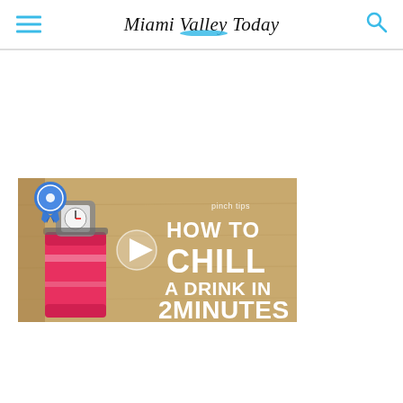Miami Valley Today
[Figure (screenshot): Video thumbnail showing a soda can with a thermometer on top on a wooden surface. Text overlay reads 'pinch tips HOW TO CHILL A DRINK IN 2 MINUTES' with a play button. Blue ribbon badge in top-left corner.]